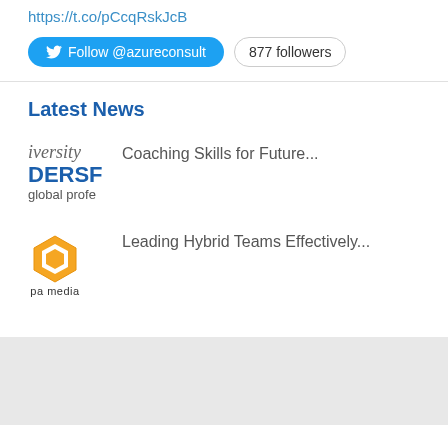https://t.co/pCcqRskJcB
Follow @azureconsult   877 followers
Latest News
Coaching Skills for Future...
Leading Hybrid Teams Effectively...
© Azure Consulting Ltd. All rights reserved. Company No. 4511647